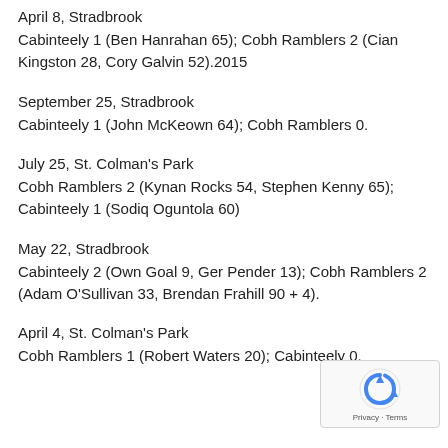April 8, Stradbrook
Cabinteely 1 (Ben Hanrahan 65); Cobh Ramblers 2 (Cian Kingston 28, Cory Galvin 52).2015
September 25, Stradbrook
Cabinteely 1 (John McKeown 64); Cobh Ramblers 0.
July 25, St. Colman's Park
Cobh Ramblers 2 (Kynan Rocks 54, Stephen Kenny 65); Cabinteely 1 (Sodiq Oguntola 60)
May 22, Stradbrook
Cabinteely 2 (Own Goal 9, Ger Pender 13); Cobh Ramblers 2 (Adam O'Sullivan 33, Brendan Frahill 90 + 4).
April 4, St. Colman's Park
Cobh Ramblers 1 (Robert Waters 20); Cabinteely 0.